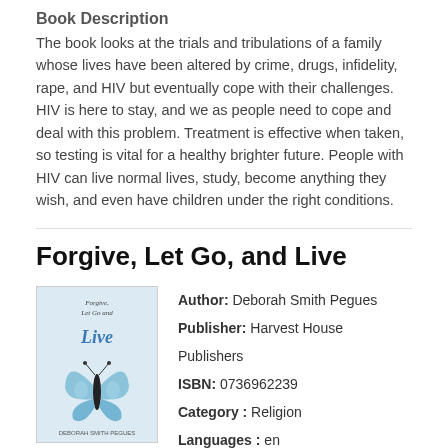Book Description
The book looks at the trials and tribulations of a family whose lives have been altered by crime, drugs, infidelity, rape, and HIV but eventually cope with their challenges. HIV is here to stay, and we as people need to cope and deal with this problem. Treatment is effective when taken, so testing is vital for a healthy brighter future. People with HIV can live normal lives, study, become anything they wish, and even have children under the right conditions.
Forgive, Let Go, and Live
[Figure (illustration): Book cover for Forgive, Let Go, and Live showing a blue butterfly and handwritten-style title text]
Author: Deborah Smith Pegues
Publisher: Harvest House Publishers
ISBN: 0736962239
Category : Religion
Languages : en
Pages : 224